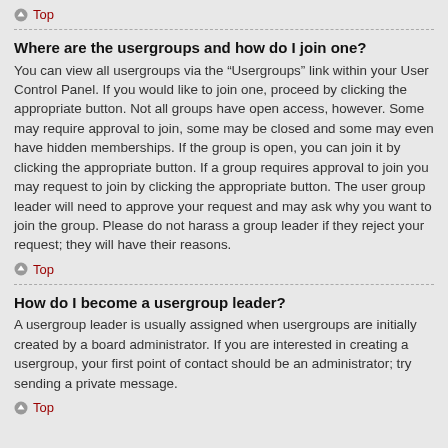Top
Where are the usergroups and how do I join one?
You can view all usergroups via the “Usergroups” link within your User Control Panel. If you would like to join one, proceed by clicking the appropriate button. Not all groups have open access, however. Some may require approval to join, some may be closed and some may even have hidden memberships. If the group is open, you can join it by clicking the appropriate button. If a group requires approval to join you may request to join by clicking the appropriate button. The user group leader will need to approve your request and may ask why you want to join the group. Please do not harass a group leader if they reject your request; they will have their reasons.
Top
How do I become a usergroup leader?
A usergroup leader is usually assigned when usergroups are initially created by a board administrator. If you are interested in creating a usergroup, your first point of contact should be an administrator; try sending a private message.
Top